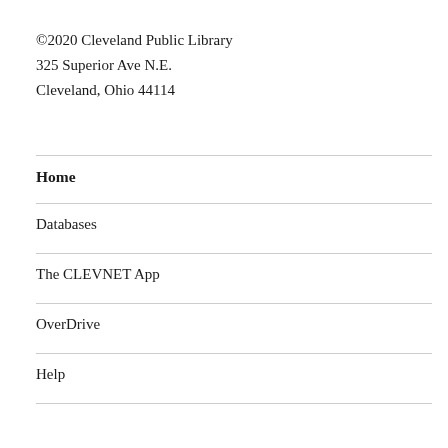©2020 Cleveland Public Library
325 Superior Ave N.E.
Cleveland, Ohio 44114
Home
Databases
The CLEVNET App
OverDrive
Help